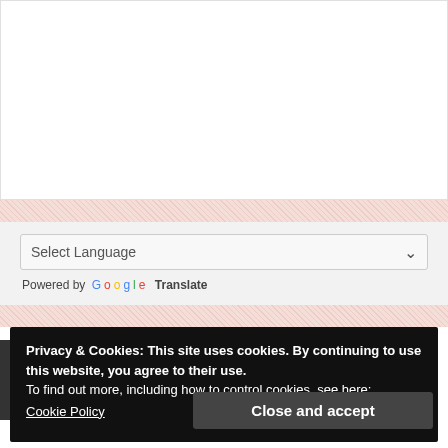[Figure (screenshot): White content area with light border representing a webpage content region]
Select Language
Powered by Google Translate
Privacy & Cookies: This site uses cookies. By continuing to use this website, you agree to their use.
To find out more, including how to control cookies, see here:
Cookie Policy
Close and accept